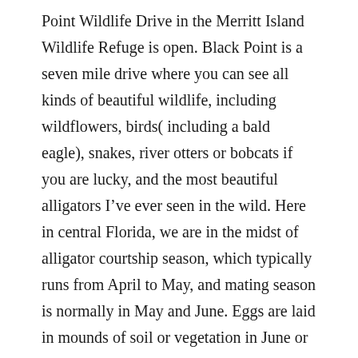Point Wildlife Drive in the Merritt Island Wildlife Refuge is open. Black Point is a seven mile drive where you can see all kinds of beautiful wildlife, including wildflowers, birds( including a bald eagle), snakes, river otters or bobcats if you are lucky, and the most beautiful alligators I've ever seen in the wild. Here in central Florida, we are in the midst of alligator courtship season, which typically runs from April to May, and mating season is normally in May and June. Eggs are laid in mounds of soil or vegetation in June or July, and the average alligator can lay around thirty-two to forty-six eggs. Eggs hatch from mid-August to early September, and during this mating season alligators can become territorial. It is wise to stay inside your car in this loop, as it is recommended to stay at least twenty-